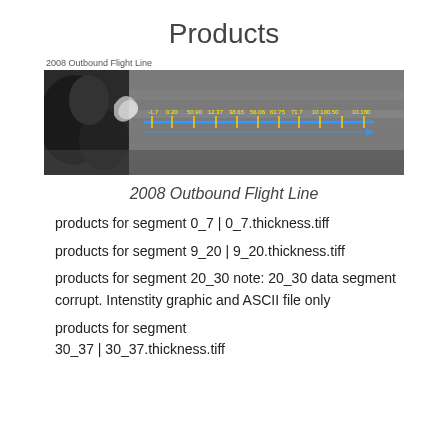Products
[Figure (photo): Aerial/satellite grayscale image showing a 2008 Outbound Flight Line with a blue horizontal line and yellow distance markers overlaid.]
2008 Outbound Flight Line
products for segment 0_7 | 0_7.thickness.tiff
products for segment 9_20 | 9_20.thickness.tiff
products for segment 20_30 note: 20_30 data segment corrupt. Intenstity graphic and ASCII file only
products for segment 30_37 | 30_37.thickness.tiff